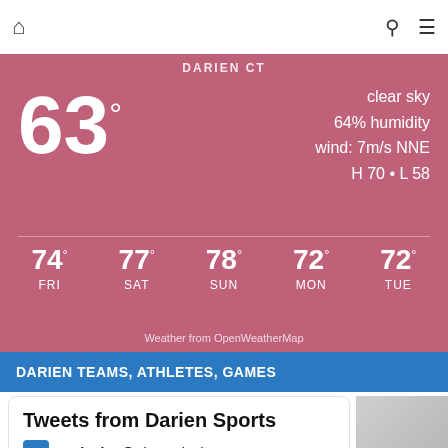Home | Search | Menu
[Figure (infographic): Weather widget for Darien CT showing current temperature 63°, clear sky, 64% humidity, wind 7m/s NNE, H 70 L 58, and forecast: FRI 74°, SAT 77°, SUN 78°, MON 72°, TUE 72°. Pink/rose background. Credit: Weather from OpenWeatherMap.]
DARIEN TEAMS, ATHLETES, GAMES
Tweets from Darien Sports
Darienite @TheDarienite
26 Members